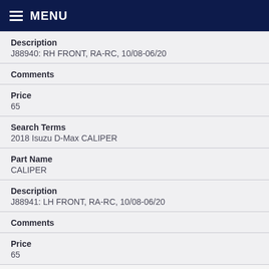MENU
| Description | J88940: RH FRONT, RA-RC, 10/08-06/20 |
| Comments |  |
| Price | 65 |
| Search Terms | 2018 Isuzu D-Max CALIPER |
| Part Name | CALIPER |
| Description | J88941: LH FRONT, RA-RC, 10/08-06/20 |
| Comments |  |
| Price | 65 |